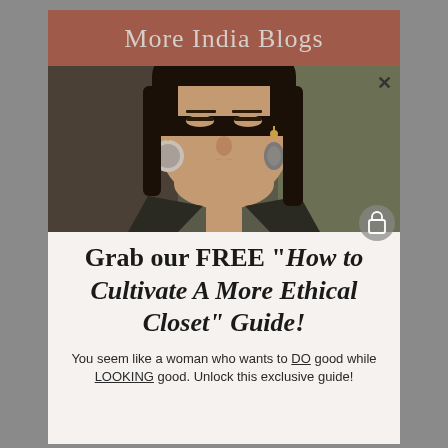More India Blogs
[Figure (photo): Close-up portrait of a South Asian woman wearing dangling stone earrings and a dark jacket, photographed indoors]
Grab our FREE "How to Cultivate A More Ethical Closet" Guide!
You seem like a woman who wants to DO good while LOOKING good. Unlock this exclusive guide!